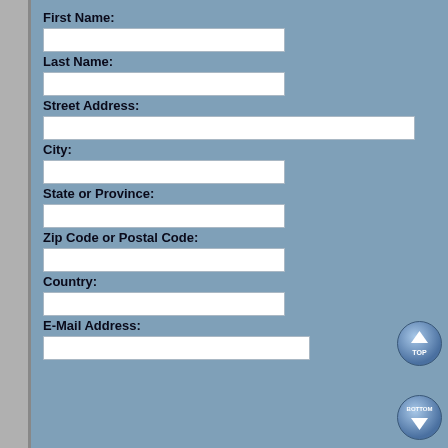First Name:
Last Name:
Street Address:
City:
State or Province:
Zip Code or Postal Code:
Country:
E-Mail Address:
[Figure (illustration): Blue circular navigation button with up arrow labeled TOP]
[Figure (illustration): Blue circular navigation button with down arrow labeled BOTTOM]